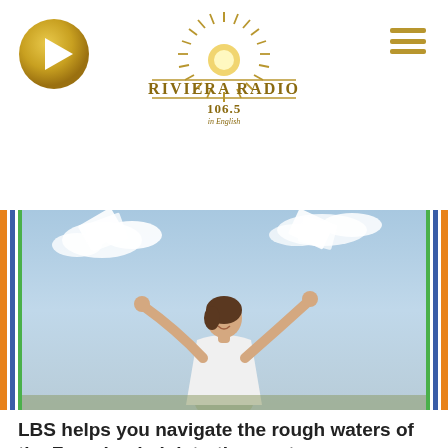[Figure (logo): Riviera Radio 106.5 in English logo with sunburst design]
[Figure (photo): Woman in white dress with arms raised joyfully against blue sky, papers flying]
LBS helps you navigate the rough waters of the French administration system